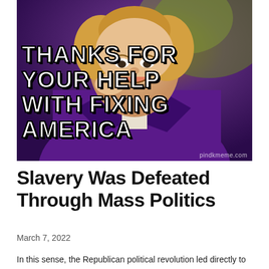[Figure (illustration): Willy Wonka meme image showing a man in a purple suit leaning on his hand with a sarcastic smirk. White bold Impact text overlay reads: 'THANKS FOR YOUR HELP WITH FIXING AMERICA'. Watermark: 'pindkmeme.com']
Slavery Was Defeated Through Mass Politics
March 7, 2022
In this sense, the Republican political revolution led directly to